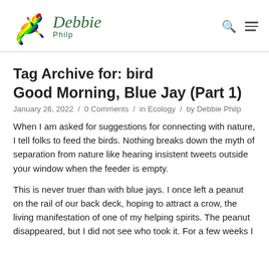Debbie Philp — site header with logo
Tag Archive for: bird
Good Morning, Blue Jay (Part 1)
January 26, 2022 / 0 Comments / in Ecology / by Debbie Philp
When I am asked for suggestions for connecting with nature, I tell folks to feed the birds. Nothing breaks down the myth of separation from nature like hearing insistent tweets outside your window when the feeder is empty.
This is never truer than with blue jays. I once left a peanut on the rail of our back deck, hoping to attract a crow, the living manifestation of one of my helping spirits. The peanut disappeared, but I did not see who took it. For a few weeks I